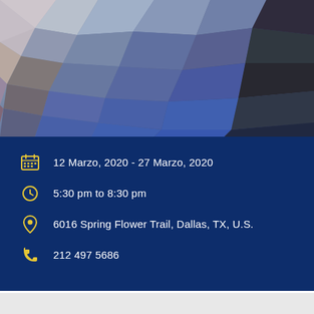[Figure (illustration): Abstract low-poly geometric mosaic background image with dark blue, grey, and muted purple polygonal shapes.]
12 Marzo, 2020 - 27 Marzo, 2020
5:30 pm to 8:30 pm
6016 Spring Flower Trail, Dallas, TX, U.S.
212 497 5686